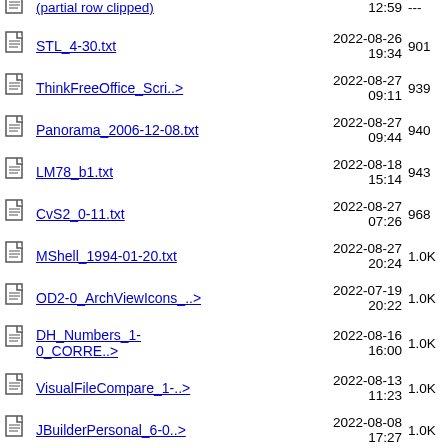STL_4-30.txt  2022-08-26 19:34  901
ThinkFreeOffice_Scri..>  2022-08-27 09:11  939
Panorama_2006-12-08.txt  2022-08-27 09:44  940
LM78_b1.txt  2022-08-18 15:14  943
CvS2_0-11.txt  2022-08-27 07:26  968
MShell_1994-01-20.txt  2022-08-27 20:24  1.0K
OD2-0_ArchViewIcons_..>  2022-07-19 20:22  1.0K
DH_Numbers_1-0_CORRE..>  2022-08-16 16:00  1.0K
VisualFileCompare_1-..>  2022-08-13 11:23  1.0K
JBuilderPersonal_6-0..>  2022-08-08 17:27  1.0K
Arieel_C_4-1.txt  2022-08-27 16:02  1.1K